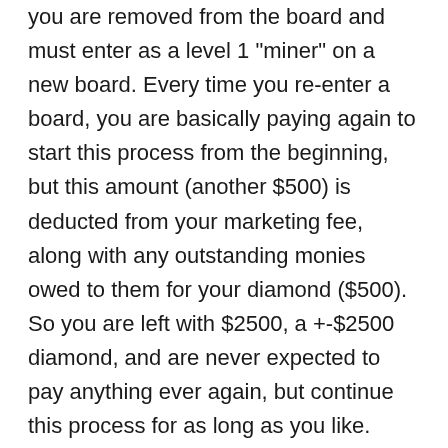you are removed from the board and must enter as a level 1 "miner" on a new board. Every time you re-enter a board, you are basically paying again to start this process from the beginning, but this amount (another $500) is deducted from your marketing fee, along with any outstanding monies owed to them for your diamond ($500). So you are left with $2500, a +-$2500 diamond, and are never expected to pay anything ever again, but continue this process for as long as you like. Everybody's efforts makes this "miner line" fill, and will assist in the board splitting and somebody collecting. At every split you